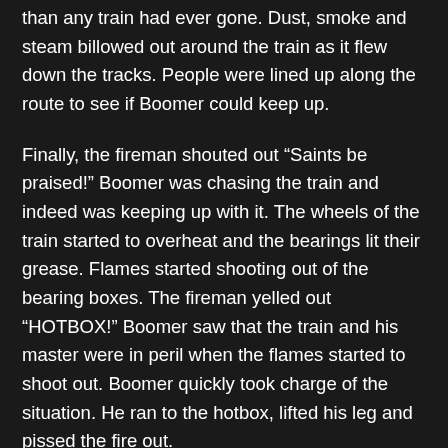than any train had ever gone. Dust, smoke and steam billowed out around the train as it flew down the tracks. People were lined up along the route to see if Boomer could keep up.
Finally, the fireman shouted out “Saints be praised!” Boomer was chasing the train and indeed was keeping up with it. The wheels of the train started to overheat and the bearings lit their grease. Flames started shooting out of the bearing boxes. The fireman yelled out “HOTBOX!” Boomer saw that the train and his master were in peril when the flames started to shoot out. Boomer quickly took charge of the situation. He ran to the hotbox, lifted his leg and pissed the fire out.
Unfortunately, Boomer could not see or react in time to avoid running into a bridge that was hidden by the steam and dust and he was killed instantly. Many lives had been saved by